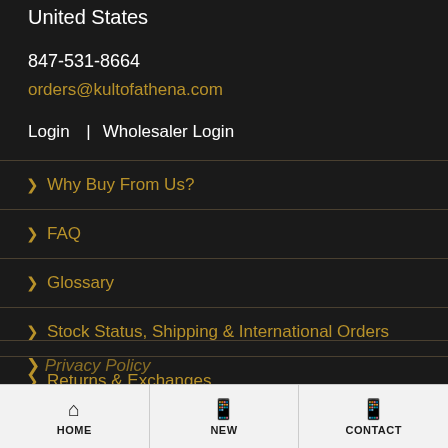United States
847-531-8664
orders@kultofathena.com
Login  |  Wholesaler Login
> Why Buy From Us?
> FAQ
> Glossary
> Stock Status, Shipping & International Orders
> Returns & Exchanges
> Privacy Policy (partial)
HOME  NEW  CONTACT